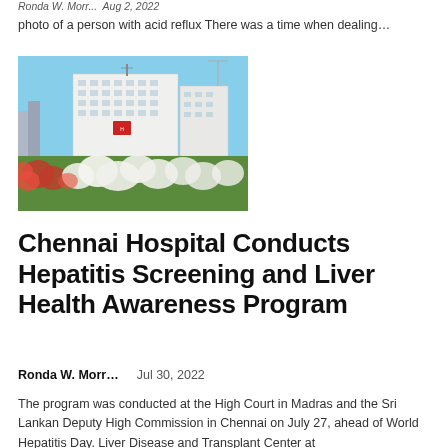Ronda W. Morr...  Aug 2, 2022
photo of a person with acid reflux There was a time when dealing…
[Figure (photo): Photo of a hospital building (white multi-story building) with colorful flowers (red and white) in the foreground and a blue sky background.]
Chennai Hospital Conducts Hepatitis Screening and Liver Health Awareness Program
Ronda W. Morr...    Jul 30, 2022
The program was conducted at the High Court in Madras and the Sri Lankan Deputy High Commission in Chennai on July 27, ahead of World Hepatitis Day. Liver Disease and Transplant Center at